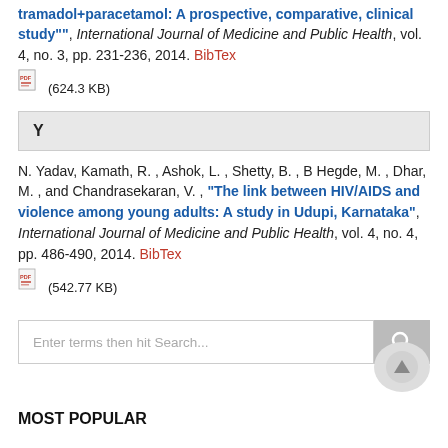tramadol+paracetamol: A prospective, comparative, clinical study"", International Journal of Medicine and Public Health, vol. 4, no. 3, pp. 231-236, 2014. BibTex (624.3 KB)
Y
N. Yadav, Kamath, R. , Ashok, L. , Shetty, B. , B Hegde, M. , Dhar, M. , and Chandrasekaran, V. , "The link between HIV/AIDS and violence among young adults: A study in Udupi, Karnataka", International Journal of Medicine and Public Health, vol. 4, no. 4, pp. 486-490, 2014. BibTex (542.77 KB)
Enter terms then hit Search...
MOST POPULAR